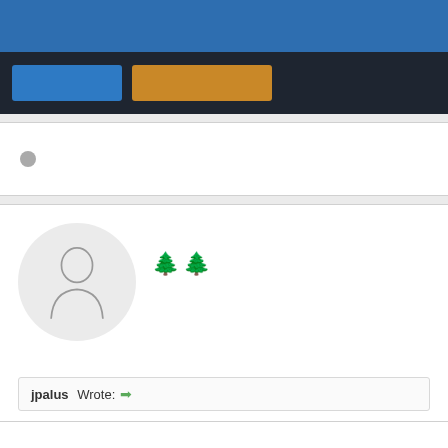[Figure (screenshot): Blue top navigation bar of a web forum/application]
[Figure (screenshot): Dark navigation bar with two colored buttons: a blue button and an orange button]
[Figure (screenshot): White card with a small grey dot (search input placeholder icon)]
[Figure (screenshot): Forum post card with a generic user avatar silhouette, two pine tree emoji icons, and a quoted post attribution 'jpalus Wrote:' with a green arrow]
jpalus Wrote: